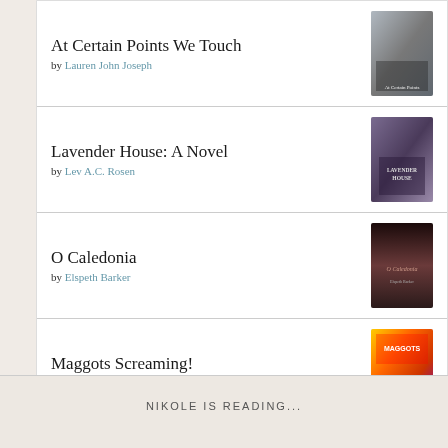At Certain Points We Touch by Lauren John Joseph
Lavender House: A Novel by Lev A.C. Rosen
O Caledonia by Elspeth Barker
Maggots Screaming! by Max Booth III
[Figure (logo): goodreads logo button with rounded rectangle border]
NIKOLE IS READING...